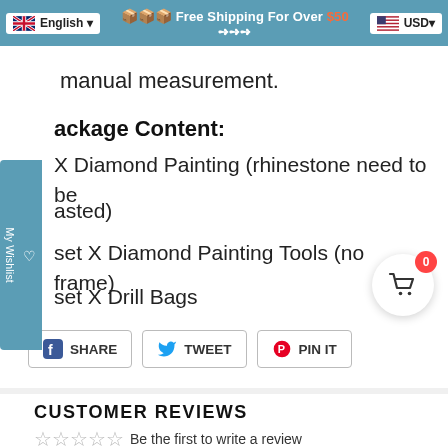🇬🇧 English | 📦📦📦 Free Shipping For Over $50 ➺➺➺ | 🇺🇸 USD
manual measurement.
Package Content:
1 X Diamond Painting (rhinestone need to be pasted)
1 set X Diamond Painting Tools (no frame)
1 set X Drill Bags
SHARE | TWEET | PIN IT
CUSTOMER REVIEWS
☆☆☆☆☆ Be the first to write a review
Write a review